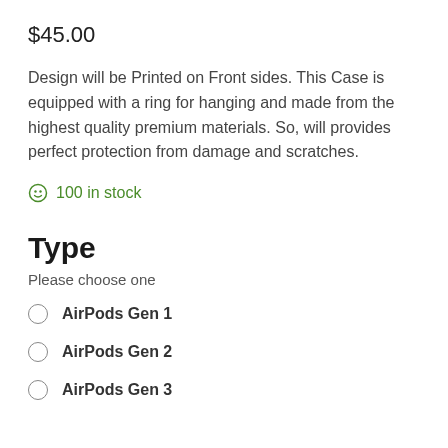$45.00
Design will be Printed on Front sides. This Case is equipped with a ring for hanging and made from the highest quality premium materials. So, will provides perfect protection from damage and scratches.
100 in stock
Type
Please choose one
AirPods Gen 1
AirPods Gen 2
AirPods Gen 3